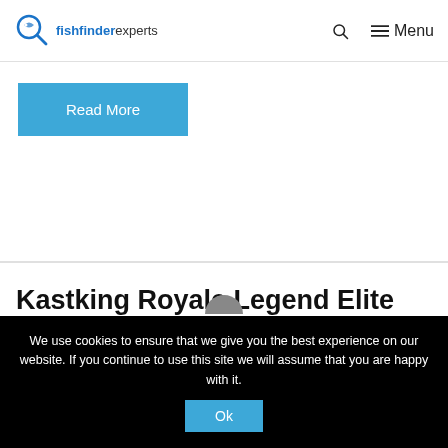fishfinderexperts — Menu
Read More
Kastking Royale Legend Elite Series Baitcasting Reel
June 28, 2021
We use cookies to ensure that we give you the best experience on our website. If you continue to use this site we will assume that you are happy with it.
Ok